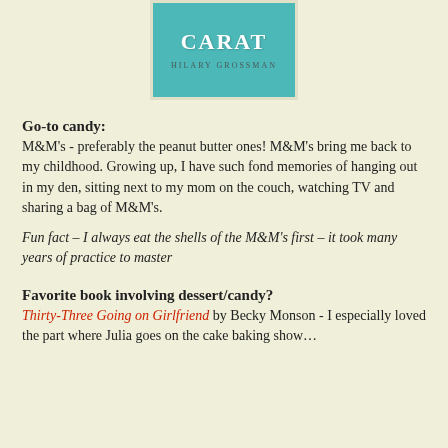[Figure (illustration): Book cover for 'Dangled Carat' by Hilary Grossman. Teal/turquoise background with white serif title text and smaller gray author name.]
Go-to candy:
M&M's - preferably the peanut butter ones! M&M's bring me back to my childhood. Growing up, I have such fond memories of hanging out in my den, sitting next to my mom on the couch, watching TV and sharing a bag of M&M's.
Fun fact – I always eat the shells of the M&M's first – it took many years of practice to master
Favorite book involving dessert/candy?
Thirty-Three Going on Girlfriend by Becky Monson - I especially loved the part where Julia goes on the cake baking show…